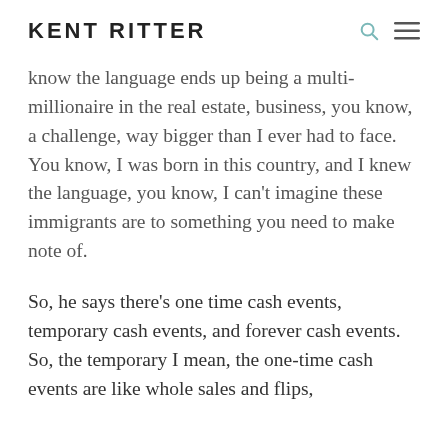KENT RITTER
know the language ends up being a multi-millionaire in the real estate, business, you know, a challenge, way bigger than I ever had to face. You know, I was born in this country, and I knew the language, you know, I can't imagine these immigrants are to something you need to make note of.
So, he says there’s one time cash events, temporary cash events, and forever cash events. So, the temporary I mean, the one-time cash events are like whole sales and flips,